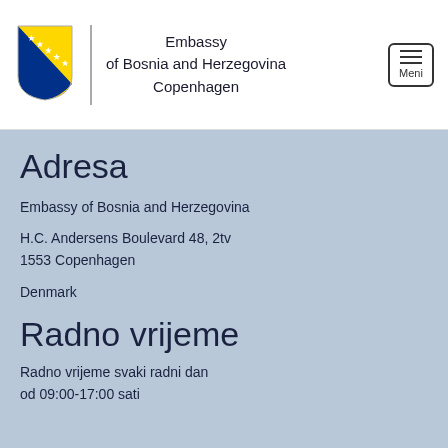[Figure (logo): Bosnia and Herzegovina coat of arms / flag shield with blue background, yellow triangle, and white stars]
Embassy of Bosnia and Herzegovina Copenhagen
[Figure (other): Menu button with three horizontal lines and label 'Meni']
Adresa
Embassy of Bosnia and Herzegovina
H.C. Andersens Boulevard 48, 2tv
1553 Copenhagen
Denmark
Radno vrijeme
Radno vrijeme svaki radni dan
od 09:00-17:00 sati